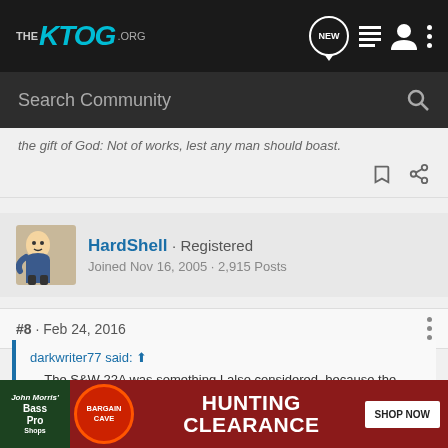THE KTOG.ORG
Search Community
the gift of God: Not of works, lest any man should boast.
HardShell · Registered
Joined Nov 16, 2005 · 2,915 Posts
#8 · Feb 24, 2016
darkwriter77 said: ↑
... The S&W 22A was something I also considered, because the takedown on that is WAY easy, except that I didn't care for the weird place they put the magazine release (right in the front of the grip itself - I would totally be dropping it by accident all of the time). The new S&W V... ...d the field st...
[Figure (screenshot): Bass Pro Shops Hunting Bargain Cave Clearance ad banner with SHOP NOW button]